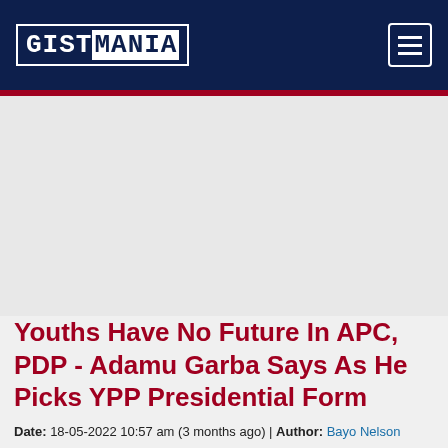GISTMANIA
Youths Have No Future In APC, PDP - Adamu Garba Says As He Picks YPP Presidential Form
Date: 18-05-2022 10:57 am (3 months ago) | Author: Bayo Nelson